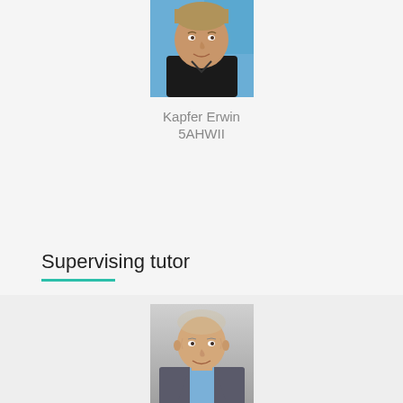[Figure (photo): Portrait photo of a young male student (Kapfer Erwin) wearing a black shirt, with a blue background]
Kapfer Erwin
5AHWII
Supervising tutor
[Figure (photo): Portrait photo of an older male tutor in a suit jacket with a light blue shirt, smiling, with a grey gradient background]